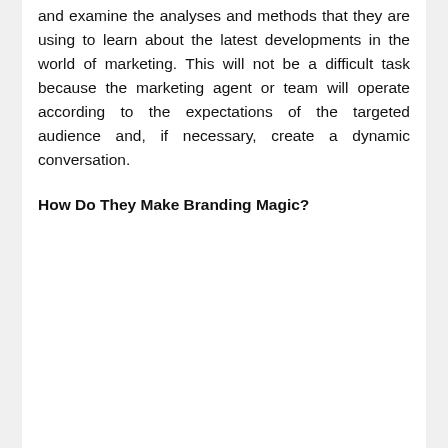and examine the analyses and methods that they are using to learn about the latest developments in the world of marketing. This will not be a difficult task because the marketing agent or team will operate according to the expectations of the targeted audience and, if necessary, create a dynamic conversation.
How Do They Make Branding Magic?